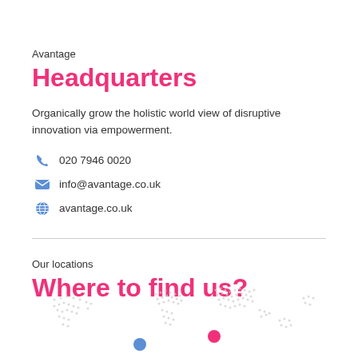Avantage
Headquarters
Organically grow the holistic world view of disruptive innovation via empowerment.
020 7946 0020
info@avantage.co.uk
avantage.co.uk
Our locations
Where to find us?
[Figure (map): Dotted world map graphic with location markers — a blue dot and a pink dot indicating office locations.]